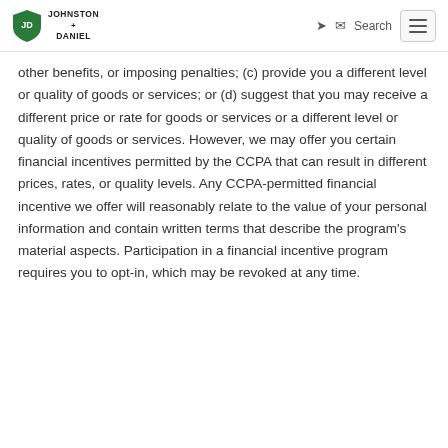Johnston Daniel — navigation header with logo, search, and menu
other benefits, or imposing penalties; (c) provide you a different level or quality of goods or services; or (d) suggest that you may receive a different price or rate for goods or services or a different level or quality of goods or services. However, we may offer you certain financial incentives permitted by the CCPA that can result in different prices, rates, or quality levels. Any CCPA-permitted financial incentive we offer will reasonably relate to the value of your personal information and contain written terms that describe the program's material aspects. Participation in a financial incentive program requires you to opt-in, which may be revoked at any time.